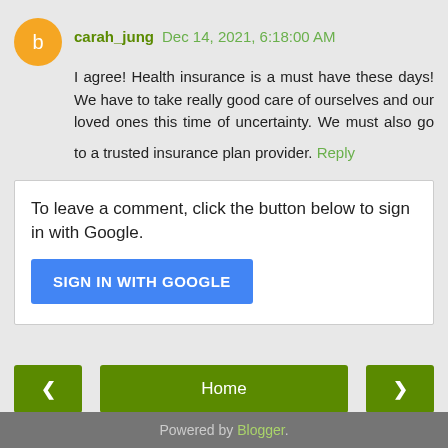carah_jung Dec 14, 2021, 6:18:00 AM
I agree! Health insurance is a must have these days! We have to take really good care of ourselves and our loved ones this time of uncertainty. We must also go to a trusted insurance plan provider.
Reply
To leave a comment, click the button below to sign in with Google.
SIGN IN WITH GOOGLE
Home
View web version
Powered by Blogger.